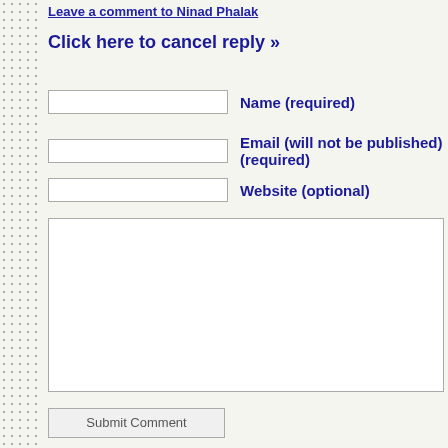Leave a comment to Ninad Phalak
Click here to cancel reply »
Name (required)
Email (will not be published) (required)
Website (optional)
Submit Comment